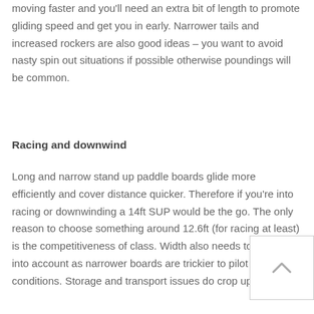moving faster and you'll need an extra bit of length to promote gliding speed and get you in early. Narrower tails and increased rockers are also good ideas – you want to avoid nasty spin out situations if possible otherwise poundings will be common.
Racing and downwind
Long and narrow stand up paddle boards glide more efficiently and cover distance quicker. Therefore if you're into racing or downwinding a 14ft SUP would be the go. The only reason to choose something around 12.6ft (for racing at least) is the competitiveness of class. Width also needs to be taken into account as narrower boards are trickier to pilot in choppy conditions. Storage and transport issues do crop up with